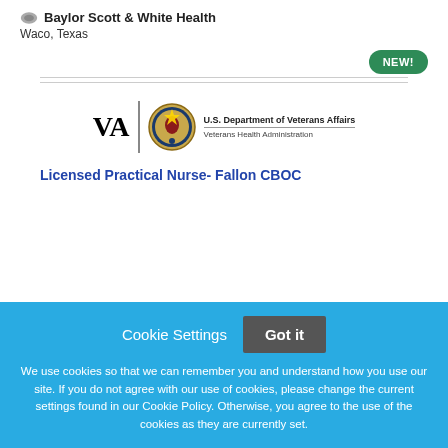Baylor Scott & White Health
Waco, Texas
[Figure (logo): VA U.S. Department of Veterans Affairs Veterans Health Administration logo with seal]
Licensed Practical Nurse- Fallon CBOC
Cookie Settings  Got it
We use cookies so that we can remember you and understand how you use our site. If you do not agree with our use of cookies, please change the current settings found in our Cookie Policy. Otherwise, you agree to the use of the cookies as they are currently set.